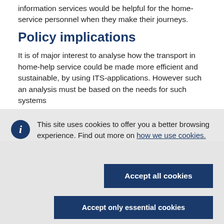information services would be helpful for the home-service personnel when they make their journeys.
Policy implications
It is of major interest to analyse how the transport in home-help service could be made more efficient and sustainable, by using ITS-applications. However such an analysis must be based on the needs for such systems
This site uses cookies to offer you a better browsing experience. Find out more on how we use cookies.